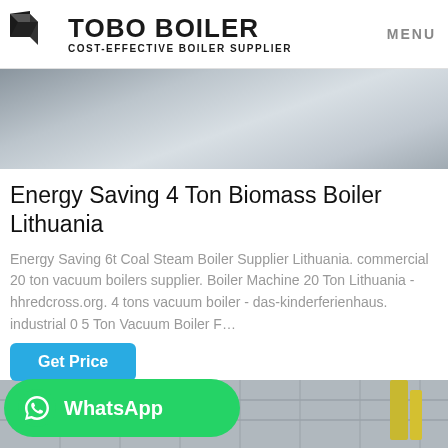TOBO BOILER — COST-EFFECTIVE BOILER SUPPLIER | MENU
[Figure (photo): Interior industrial/warehouse photo showing a reflective floor with bright light, partially visible ceiling structure, gray tones]
Energy Saving 4 Ton Biomass Boiler Lithuania
Energy Saving 6t Coal Steam Boiler Supplier Lithuania. commercial 20 ton vacuum boilers supplier. Boiler Machine 20 Ton Lithuania - hhredcross.org. 4 tons vacuum boiler - das-kinderferienhaus. industrial 0 5 Ton Vacuum Boiler F…
Get Price
WhatsApp
[Figure (photo): Interior industrial space showing ceiling grid structure with yellow equipment visible on the right side]